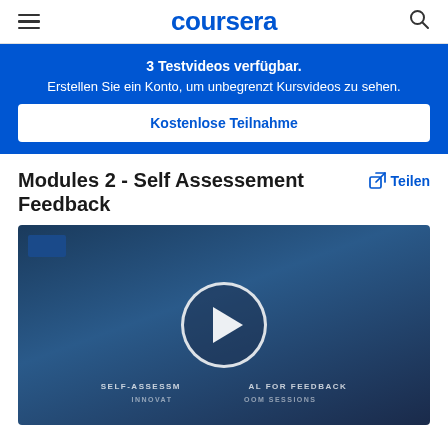coursera
3 Testvideos verfügbar.
Erstellen Sie ein Konto, um unbegrenzt Kursvideos zu sehen.
Kostenlose Teilnahme
Modules 2 - Self Assessement Feedback
Teilen
[Figure (screenshot): Video thumbnail with play button. Text overlay reads: SELF-ASSESSM[ENT PROPOS]AL FOR FEEDBACK / INNOVAT[ION IN CLASSR]OOM SESSIONS]